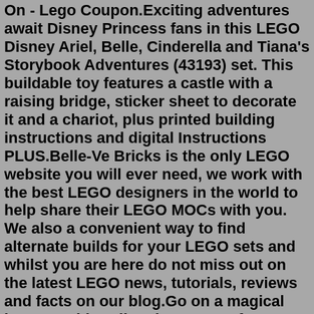On - Lego Coupon.Exciting adventures await Disney Princess fans in this LEGO Disney Ariel, Belle, Cinderella and Tiana's Storybook Adventures (43193) set. This buildable toy features a castle with a raising bridge, sticker sheet to decorate it and a chariot, plus printed building instructions and digital Instructions PLUS.Belle-Ve Bricks is the only LEGO website you will ever need, we work with the best LEGO designers in the world to help share their LEGO MOCs with you. We also a convenient way to find alternate builds for your LEGO sets and whilst you are here do not miss out on the latest LEGO news, tutorials, reviews and facts on our blog.Go on a magical journey with Belle. Shop Target for Disney Beauty and the Beast toys, clothing and more at great prices. Free shipping on orders $35+ or free same-day pickup in store. ... LEGO Disney Belle and Rapunzel's Royal Stables 43195 Building Kit. LEGO. 4.9 out of 5 stars with 22 ratings. 22. $49.99. Free 2-day shipping. Not at your store.Ahsoka Tano Brickheadz - $9.99. (Photo: LEGO/SEGA) Gaming LEGO Sets: Sonic the